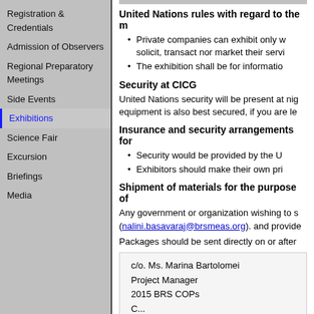Registration & Credentials
Admission of Observers
Regional Preparatory Meetings
Side Events
Exhibitions
Science Fair
Excursion
Briefings
Media
United Nations rules with regard to the m
Private companies can exhibit only w solicit, transact nor market their servi
The exhibition shall be for informatio
Security at CICG
United Nations security will be present at nig equipment is also best secured, if you are le
Insurance and security arrangements for
Security would be provided by the U
Exhibitors should make their own pri
Shipment of materials for the purpose of
Any government or organization wishing to s (nalini.basavaraj@brsmeas.org), and provide
Packages should be sent directly on or after
c/o. Ms. Marina Bartolomei
Project Manager
2015 BRS COPs
C...